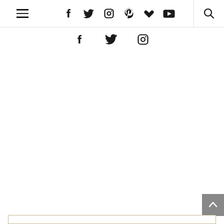[Figure (screenshot): Website navigation bar with hamburger menu on the left, social media icons (Facebook, Twitter, Instagram, Pinterest, heart/Bloglovin, YouTube) in the center, a vertical divider, and a search icon on the right.]
[Figure (screenshot): Secondary social media icon row below the nav bar showing Facebook, Twitter, and Instagram icons centered.]
[Figure (screenshot): Scroll-to-top button (gray square with upward arrow) at bottom right corner.]
[Figure (screenshot): Thin gold/tan bordered rectangle at the very bottom of the page.]